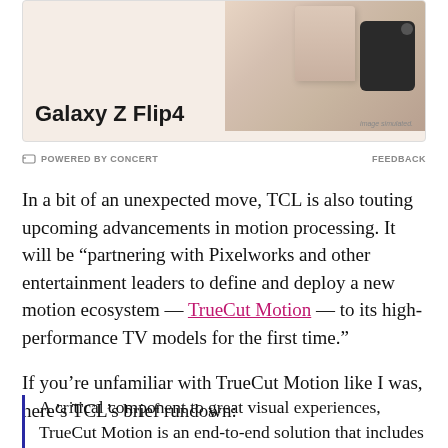[Figure (photo): Advertisement for Samsung Galaxy Z Flip4 smartphone showing folded/unfolded phone in gold/beige color against a light pink-beige background]
POWERED BY CONCERT    FEEDBACK
In a bit of an unexpected move, TCL is also touting upcoming advancements in motion processing. It will be “partnering with Pixelworks and other entertainment leaders to define and deploy a new motion ecosystem — TrueCut Motion — to its high-performance TV models for the first time.”
If you’re unfamiliar with TrueCut Motion like I was, here’s TCL’s brief rundown:
A critical component to great visual experiences, TrueCut Motion is an end-to-end solution that includes a new content delivery format and device